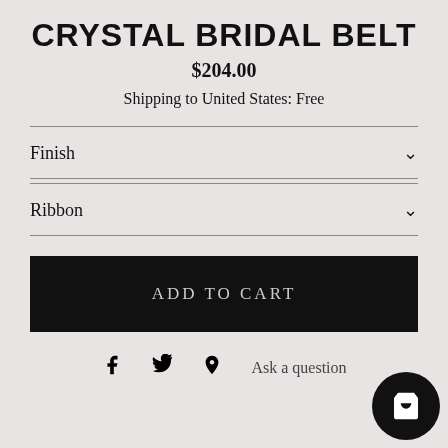CRYSTAL BRIDAL BELT
$204.00
Shipping to United States: Free
Finish
Ribbon
ADD TO CART
Ask a question